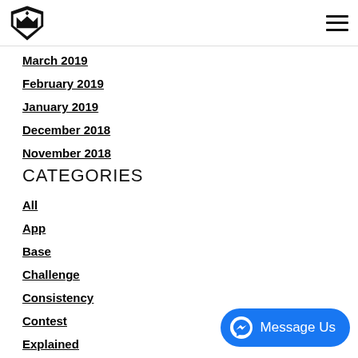[Logo] [Hamburger menu]
March 2019
February 2019
January 2019
December 2018
November 2018
CATEGORIES
All
App
Base
Challenge
Consistency
Contest
Explained
Greyskull
Hiring
How To